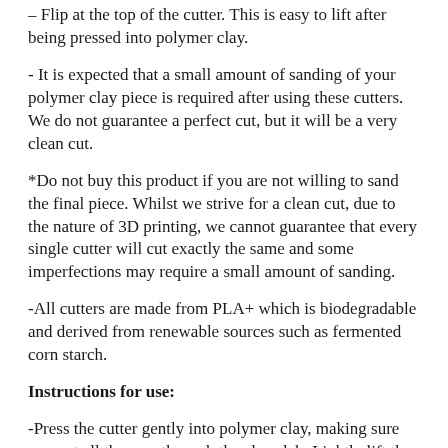– Flip at the top of the cutter. This is easy to lift after being pressed into polymer clay.
- It is expected that a small amount of sanding of your polymer clay piece is required after using these cutters. We do not guarantee a perfect cut, but it will be a very clean cut.
*Do not buy this product if you are not willing to sand the final piece. Whilst we strive for a clean cut, due to the nature of 3D printing, we cannot guarantee that every single cutter will cut exactly the same and some imperfections may require a small amount of sanding.
-All cutters are made from PLA+ which is biodegradable and derived from renewable sources such as fermented corn starch.
Instructions for use:
-Press the cutter gently into polymer clay, making sure you cut all the way through the clay slab. Lightly lift the cutter and gently remove the polymer clay from the cutter with your finger. To